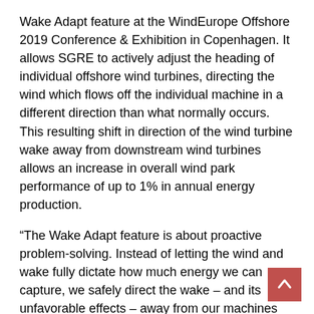Wake Adapt feature at the WindEurope Offshore 2019 Conference & Exhibition in Copenhagen. It allows SGRE to actively adjust the heading of individual offshore wind turbines, directing the wind which flows off the individual machine in a different direction than what normally occurs. This resulting shift in direction of the wind turbine wake away from downstream wind turbines allows an increase in overall wind park performance of up to 1% in annual energy production.
“The Wake Adapt feature is about proactive problem-solving. Instead of letting the wind and wake fully dictate how much energy we can capture, we safely direct the wake – and its unfavorable effects – away from our machines across the entire power plant. Through digitalisation, we can produce more energy from the same turbines, benefitting our customers, ratepayers, and society overall. SGRE is committed to innovation and improvements which ensure clean energy for generations to come,” says Morten Pilgaard Rasmussen, Head of Offshore Technology at Siemens Gamesa.